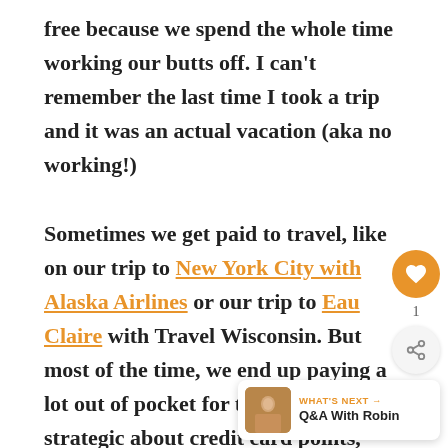free because we spend the whole time working our butts off. I can't remember the last time I took a trip and it was an actual vacation (aka no working!)

Sometimes we get paid to travel, like on our trip to New York City with Alaska Airlines or our trip to Eau Claire with Travel Wisconsin. But most of the time, we end up paying a lot out of pocket for trips but we are strategic about credit card points, reward programs and other ways to reduce the cost.
[Figure (other): Floating action bar with heart icon (orange circle, count: 1) and share icon (light circle)]
[Figure (other): What's Next banner showing thumbnail image and text 'Q&A With Robin']